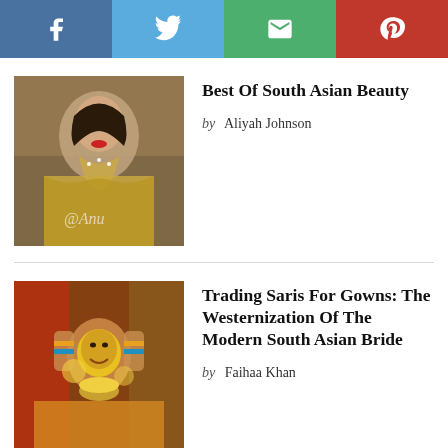[Figure (infographic): Social sharing bar with four buttons: Facebook (blue), Twitter (light blue), Email (green), Pinterest (red), each with white icons]
[Figure (photo): South Asian woman in ornate gold bridal attire with jewellery, watermark @Anu visible]
Best Of South Asian Beauty
by Aliyah Johnson
[Figure (photo): South Asian women at a haldi ceremony, bride covered in yellow turmeric paste, smiling]
Trading Saris For Gowns: The Westernization Of The Modern South Asian Bride
by Faihaa Khan